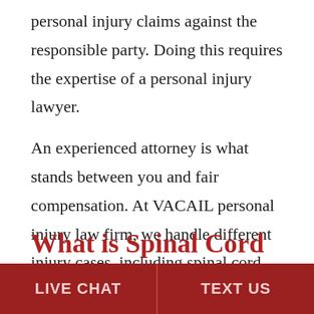personal injury claims against the responsible party. Doing this requires the expertise of a personal injury lawyer.
An experienced attorney is what stands between you and fair compensation. At VACAIL personal injury law firm, we handle different injury cases, including spinal cord injury claims. So, contact our Virginia Beach spinal cord injury attorneys for excellent legal representation.
What is Spinal Cord...
LIVE CHAT | TEXT US